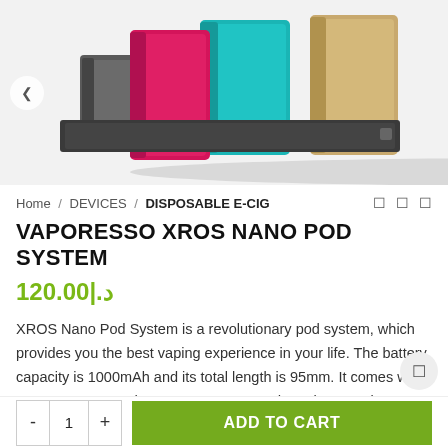[Figure (photo): Multiple Vaporesso XROS Nano Pod System devices in various colors (pink/magenta, teal/turquoise, gold/champagne, grey/black) arranged together against a white background.]
Home / DEVICES / DISPOSABLE E-CIG
VAPORESSO XROS NANO POD SYSTEM
120.00|.د
XROS Nano Pod System is a revolutionary pod system, which provides you the best vaping experience in your life. The battery capacity is 1000mAh and its total length is 95mm. It comes with 1 XROS Nano Pod System, 1 XROS Pod 0.2ohm Atomizer, 1 XROS Atomizer 0.5ohm Atomizer, 1 USB Cable, 1 User Manual, and its unique design will heat up very fast in just a few seconds and it is.
ADD TO CART